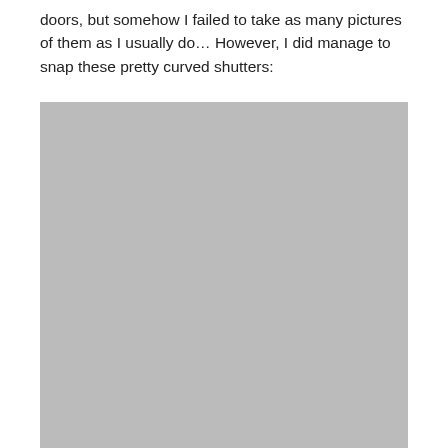doors, but somehow I failed to take as many pictures of them as I usually do… However, I did manage to snap these pretty curved shutters:
[Figure (photo): A large rectangular placeholder image with a solid light gray (#bbbbbb) fill, representing a photograph of curved shutters.]